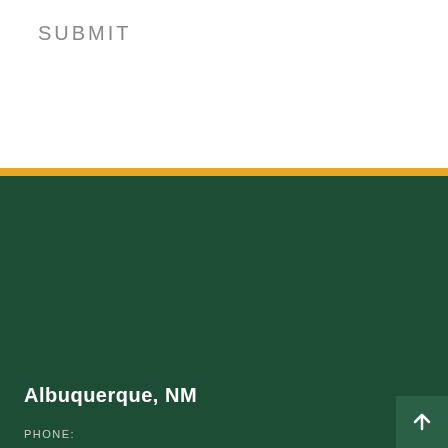SUBMIT
Albuquerque, NM
PHONE:
505-346-3434
ADDRESS:
5600 Eubank Blvd NE #260
Albuquerque, NM 87111
VIEW LOCATION
Bellevue, WA